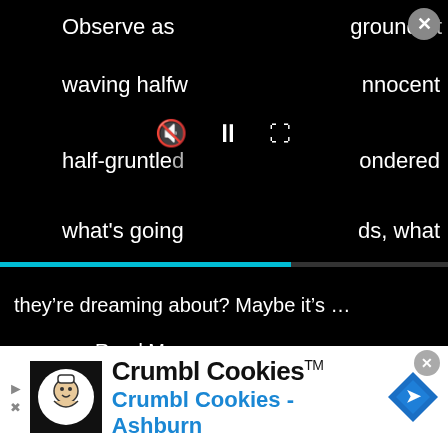Observe as
ground st
waving halfv
nnocent
half-gruntled
ondered
what's going
ds, what
they’re dreaming about? Maybe it’s …
Read More »
← Previous Page
1
2
3
4
Next Page →
[Figure (screenshot): Crumbl Cookies advertisement banner with logo, brand name, and navigation icon. Shows 'Crumbl Cookies™' in black and 'Crumbl Cookies - Ashburn' in blue.]